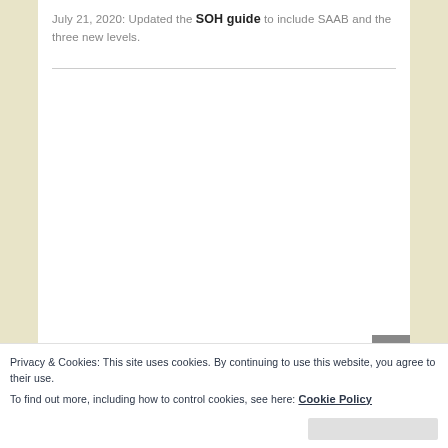July 21, 2020: Updated the SOH guide to include SAAB and the three new levels.
Privacy & Cookies: This site uses cookies. By continuing to use this website, you agree to their use. To find out more, including how to control cookies, see here: Cookie Policy